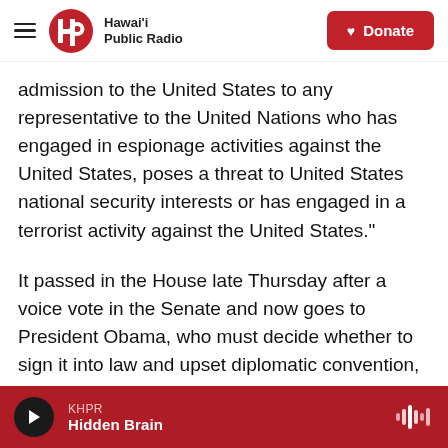Hawai'i Public Radio | Donate
admission to the United States to any representative to the United Nations who has engaged in espionage activities against the United States, poses a threat to United States national security interests or has engaged in a terrorist activity against the United States."
It passed in the House late Thursday after a voice vote in the Senate and now goes to President Obama, who must decide whether to sign it into law and upset diplomatic convention, or veto it and face a likely political backlash.
At immediate issue is Iran's choice of Hamid
KHPR | Hidden Brain